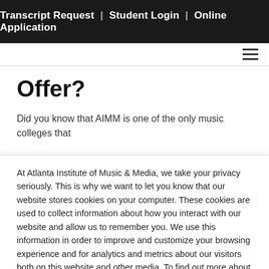Transcript Request | Student Login | Online Application
Offer?
Did you know that AIMM is one of the only music colleges that
At Atlanta Institute of Music & Media, we take your privacy seriously. This is why we want to let you know that our website stores cookies on your computer. These cookies are used to collect information about how you interact with our website and allow us to remember you. We use this information in order to improve and customize your browsing experience and for analytics and metrics about our visitors both on this website and other media. To find out more about the cookies we use, you can check out our Privacy Policy.